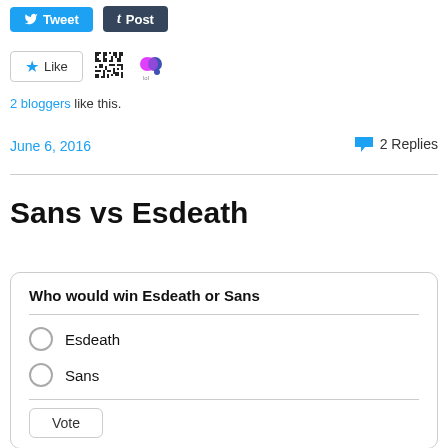[Figure (other): Social sharing buttons: Tweet (blue) and Post (dark tumblr)]
[Figure (other): Like button with star icon, QR-style avatar, and colored dots avatar]
2 bloggers like this.
June 6, 2016
2 Replies
Sans vs Esdeath
| Who would win Esdeath or Sans |
| Esdeath |
| Sans |
| Vote |